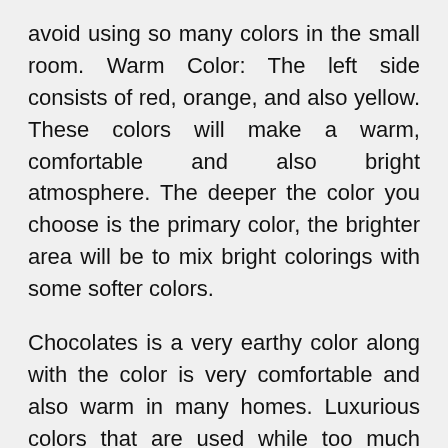avoid using so many colors in the small room. Warm Color: The left side consists of red, orange, and also yellow. These colors will make a warm, comfortable and also bright atmosphere. The deeper the color you choose is the primary color, the brighter area will be to mix bright colorings with some softer colors.
Chocolates is a very earthy color along with the color is very comfortable and also warm in many homes. Luxurious colors that are used while too much chocolate in any room can feel closed and also gloomy. Gray is a conservative color that can make a room look ‘clean’ and truly feel formal to it. This colouring should be used very easily with home decor or painting because it can make the room feel very ‘very comfortable’. Yellow is a very strong color. It shows ambiance, happiness and can have